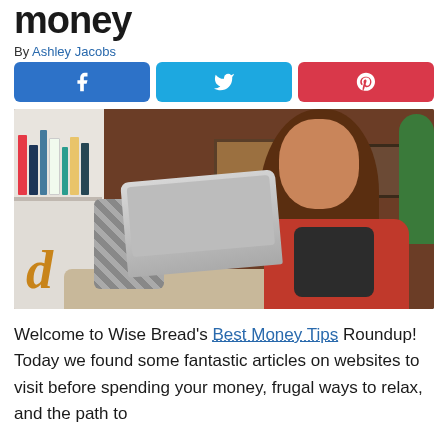money
By Ashley Jacobs
[Figure (infographic): Three social share buttons: Facebook (blue), Twitter (light blue), Pinterest (red)]
[Figure (photo): Woman with long brown hair wearing a red jacket and dark top, smiling while using a laptop on a sofa, with a bookshelf in the background]
Welcome to Wise Bread's Best Money Tips Roundup! Today we found some fantastic articles on websites to visit before spending your money, frugal ways to relax, and the path to